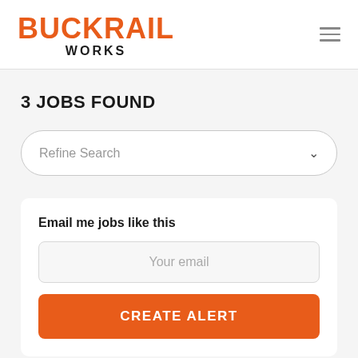BUCKRAIL WORKS
3 JOBS FOUND
Refine Search
Email me jobs like this
Your email
CREATE ALERT